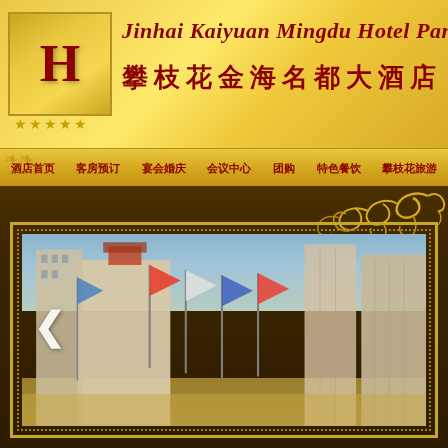[Figure (logo): Red letter H logo mark for Jinhai Kaiyuan Mingdu Hotel]
Jinhai Kaiyuan Mingdu Hotel Panzhihu
攀枝花金海名都大酒店
★★★★★
酒店首页  客房预订  宴会婚庆  会议中心  团购  特色餐饮  攀枝花旅游
[Figure (photo): Exterior photo of Jinhai Kaiyuan Mingdu Hotel building with flags in foreground, multi-story hotel complex]